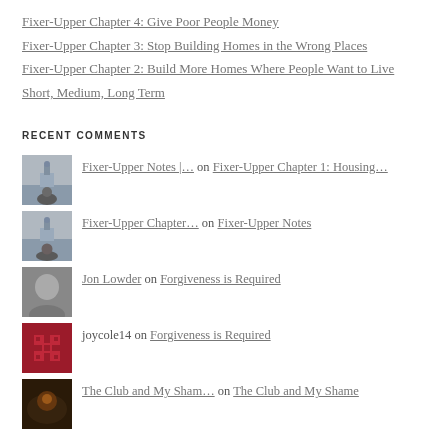Fixer-Upper Chapter 4: Give Poor People Money
Fixer-Upper Chapter 3: Stop Building Homes in the Wrong Places
Fixer-Upper Chapter 2: Build More Homes Where People Want to Live
Short, Medium, Long Term
RECENT COMMENTS
Fixer-Upper Notes |… on Fixer-Upper Chapter 1: Housing…
Fixer-Upper Chapter… on Fixer-Upper Notes
Jon Lowder on Forgiveness is Required
joycole14 on Forgiveness is Required
The Club and My Sham… on The Club and My Shame